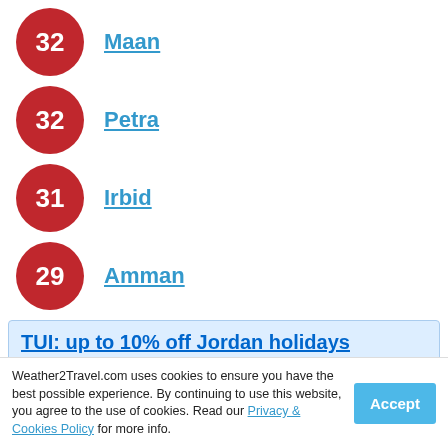32 Maan
32 Petra
31 Irbid
29 Amman
TUI: up to 10% off Jordan holidays
Save up to 10% on holidays to Jordan
Book online with TUI to receive discount
Weather2Travel.com uses cookies to ensure you have the best possible experience. By continuing to use this website, you agree to the use of cookies. Read our Privacy & Cookies Policy for more info.